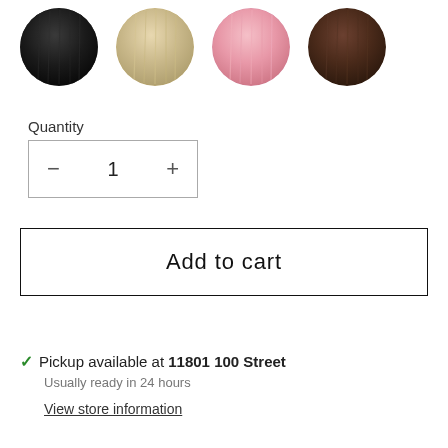[Figure (illustration): Four circular hair color swatches: black, blonde/beige, pink, and dark brown, shown as textured hair fiber circles.]
Quantity
[Figure (other): Quantity selector box with minus button, number 1, and plus button.]
Add to cart
✓ Pickup available at 11801 100 Street
Usually ready in 24 hours
View store information